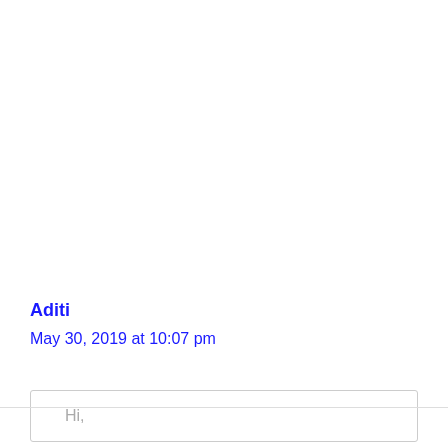Aditi
May 30, 2019 at 10:07 pm
Hi,